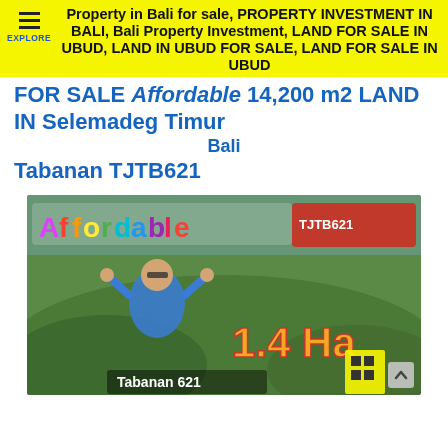Property in Bali for sale, PROPERTY INVESTMENT IN BALI, Bali Property Investment, LAND FOR SALE IN UBUD, LAND IN UBUD FOR SALE, LAND FOR SALE IN UBUD
FOR SALE Affordable 14,200 m2 LAND IN Selemadeg Timur Tabanan TJTB621
[Figure (photo): Promotional photo of a woman in a blue outfit giving thumbs up in a green landscape with colorful 'Affordable' text banner and '1.4 Ha' text, Tabanan Bali land for sale advertisement image.]